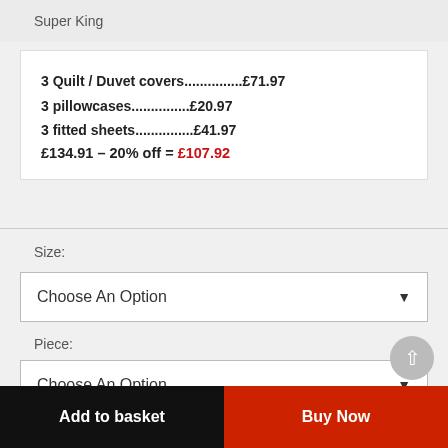Super King
3 Quilt / Duvet covers...............£71.97
3 pillowcases...............£20.97
3 fitted sheets...............£41.97
£134.91 – 20% off = £107.92
Size:
Choose An Option
Piece:
Choose An Option
Add to basket
Buy Now